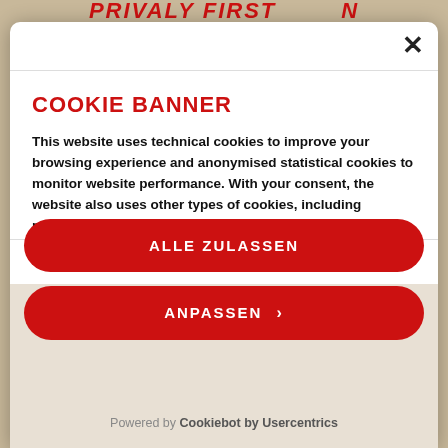PRIVACY FIRST N
×
COOKIE BANNER
This website uses technical cookies to improve your browsing experience and anonymised statistical cookies to monitor website performance. With your consent, the website also uses other types of cookies, including profiling cookies, of Mutti and third parties, to send advertising, which can also be customised. By clicking on the "X" button, you will close the banner and consent to the enabling of only
ALLE ZULASSEN
ANPASSEN ›
Powered by Cookiebot by Usercentrics